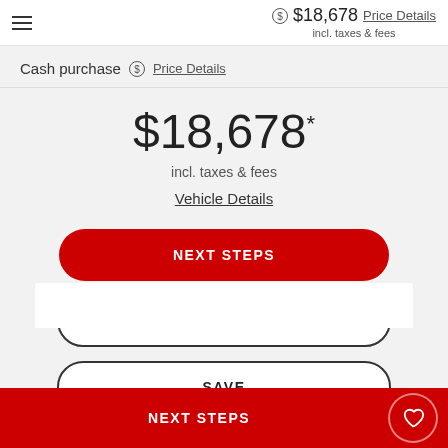$18,678 incl. taxes & fees — Price Details
Cash purchase  Price Details
$18,678 * incl. taxes & fees
Vehicle Details
NEXT STEPS
TEST DRIVE
SAVE
NEXT STEPS